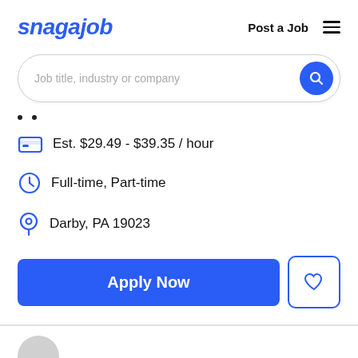[Figure (logo): Snagajob logo in blue italic bold font]
Post a Job
[Figure (other): Hamburger menu icon (three horizontal lines)]
Job title, industry or company
Est. $29.49 - $39.35 / hour
Full-time, Part-time
Darby, PA 19023
Apply Now